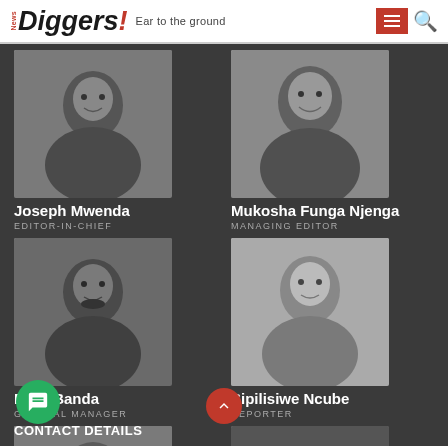News Diggers! Ear to the ground
Joseph Mwenda
EDITOR-IN-CHIEF
[Figure (photo): Black and white headshot of Joseph Mwenda, Editor-in-Chief]
[Figure (photo): Black and white headshot of Mukosha Funga Njenga, Managing Editor]
Mukosha Funga Njenga
MANAGING EDITOR
[Figure (photo): Black and white headshot of Elias Banda, General Manager]
Elias Banda
GENERAL MANAGER
[Figure (photo): Black and white headshot of Sipilisiwe Ncube, Reporter]
Sipilisiwe Ncube
REPORTER
[Figure (photo): Black and white headshot of Zondiwe Mbewe, Reporter]
Zondiwe Mbewe
REPORTER
[Figure (photo): Black and white headshot of Ulande Nkomesha, Reporter]
Ulande Nkomesha
REPORTER
CONTACT DETAILS